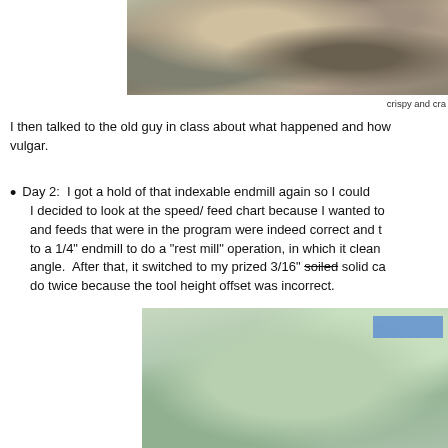[Figure (photo): Close-up photo of corroded/rusty metal parts, showing metallic components with rust and corrosion, described as crispy and cra[cked]]
crispy and cra[cked]
I then talked to the old guy in class about what happened and how vulgar.
Day 2:  I got a hold of that indexable endmill again so I could I decided to look at the speed/ feed chart because I wanted to and feeds that were in the program were indeed correct and t to a 1/4" endmill to do a "rest mill" operation, in which it clean angle.  After that, it switched to my prized 3/16" soiled solid ca do twice because the tool height offset was incorrect.
[Figure (photo): Photo of a green/grey machine panel or enclosure interior, possibly a CNC machine, with a small blue label in upper right corner]